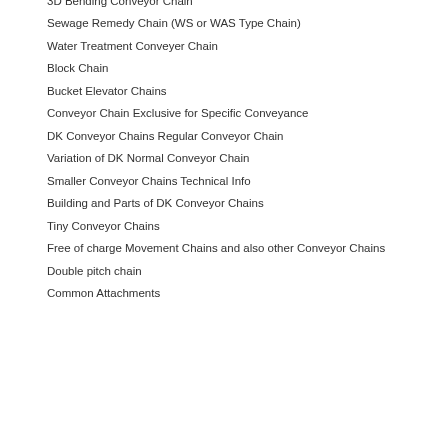3D Bending Conveyor Chain
Sewage Remedy Chain (WS or WAS Type Chain)
Water Treatment Conveyer Chain
Block Chain
Bucket Elevator Chains
Conveyor Chain Exclusive for Specific Conveyance
DK Conveyor Chains Regular Conveyor Chain
Variation of DK Normal Conveyor Chain
Smaller Conveyor Chains Technical Info
Building and Parts of DK Conveyor Chains
Tiny Conveyor Chains
Free of charge Movement Chains and also other Conveyor Chains
Double pitch chain
Common Attachments